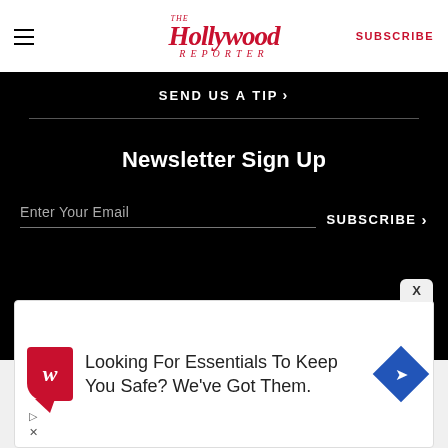The Hollywood Reporter | SUBSCRIBE
SEND US A TIP ›
Newsletter Sign Up
Enter Your Email  SUBSCRIBE ›
[Figure (logo): PMC logo partially visible]
[Figure (screenshot): Walgreens advertisement: Looking For Essentials To Keep You Safe? We've Got Them.]